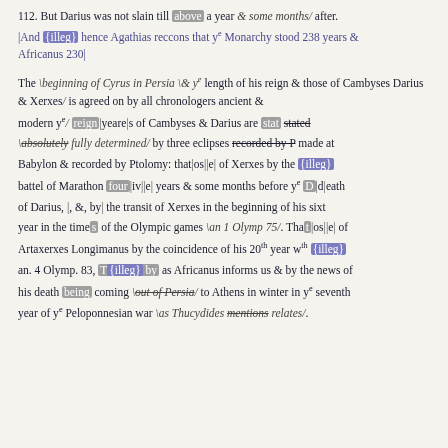112. But Darius was not slain till above a year & some months/ after. |And {illeg} hence Agathias reccons that ye Monarchy stood 238 years & Africanus 230|
The \beginning of Cyrus in Persia \& ye length of his reign & those of Cambyses Darius & Xerxes/ is agreed on by all chronologers ancient & modern ye/ reign|yeare|s of Cambyses & Darius are stat stated \absolutely fully determined/ by three eclipses recorded by P made at Babylon & recorded by Ptolomy: that|os||e| of Xerxes by the {illeg} battel of Marathon four|iv||e| years & some months before ye D|d|eath of Darius, |, &, by| the transit of Xerxes in the beginning of his sixt year in the times of the Olympic games \an 1 Olymp 75/. That|os||e| of Artaxerxes Longimanus by the coincidence of his 20th year wth {illeg} an. 4 Olymp. 83, T{illeg} by as Africanus informs us & by the news of his death being coming \out of Persia/ to Athens in winter in ye seventh year of ye Peloponnesian war \as Thucydides mentions relates/.